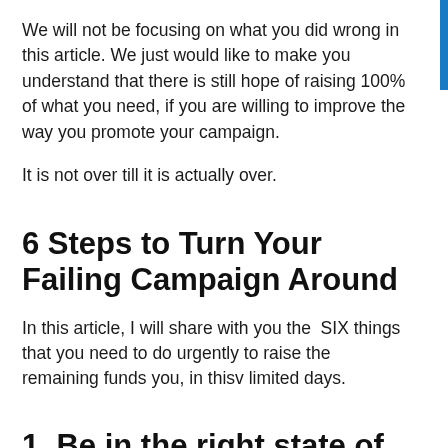We will not be focusing on what you did wrong in this article. We just would like to make you understand that there is still hope of raising 100% of what you need, if you are willing to improve the way you promote your campaign.
It is not over till it is actually over.
6 Steps to Turn Your Failing Campaign Around
In this article, I will share with you the  SIX things that you need to do urgently to raise the remaining funds you, in thisv limited days.
1. Be in the right state of mind. Be positive.